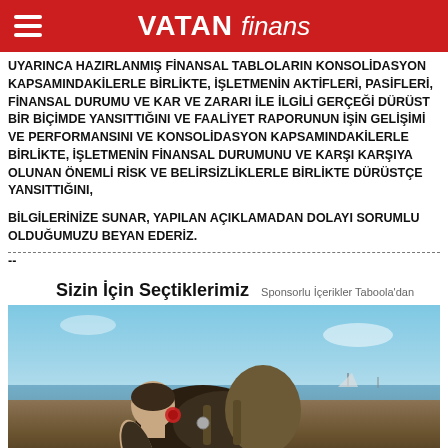VATAN finans
UYARINCA HAZIRLANMIŞ FİNANSAL TABLOLARIN KONSOLİDASYON KAPSAMINDAKİLERLE BİRLİKTE, İŞLETMENİN AKTİFLERİ, PASİFLERİ, FİNANSAL DURUMU VE KAR VE ZARARI İLE İLGİLİ GERÇEĞİ DÜRÜST BİR BİÇİMDE YANSITTIĞINI VE FAALİYET RAPORUNUN İŞİN GELİŞİMİ VE PERFORMANSINI VE KONSOLİDASYON KAPSAMINDAKİLERLE BİRLİKTE, İŞLETMENİN FİNANSAL DURUMUNU VE KARŞI KARŞIYA OLUNAN ÖNEMLİ RİSK VE BELİRSİZLİKLERLE BİRLİKTE DÜRÜSTÇE YANSITTIĞINI,
BİLGİLERİNİZE SUNAR, YAPILAN AÇIKLAMADAN DOLAYI SORUMLU OLDUĞUMUZU BEYAN EDERİZ.
--
Sizin İçin Seçtiklerimiz
Sponsorlu İçerikler Taboola'dan
[Figure (photo): A young soldier or military personnel leaning forward, carrying equipment, with a blue sky and water in the background]